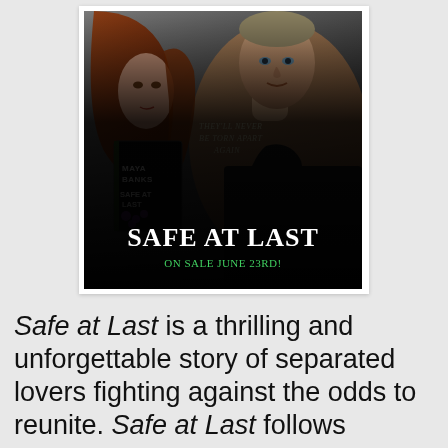[Figure (illustration): Book promotional image for 'Safe at Last' by Maya Banks. Features a woman with auburn hair and a muscular man in a dark tank top on a dramatic background. A book cover insert shows 'Maya Banks Safe at Last' with purple flowers. Text overlay reads 'They'll Never Be Torn Apart Again' and large text at bottom reads 'Safe At Last' with 'On Sale June 23rd!' in green.]
Safe at Last is a thrilling and unforgettable story of separated lovers fighting against the odds to reunite. Safe at Last follows Devereaux